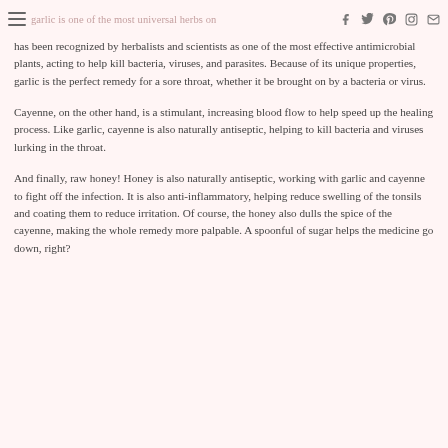garlic is one of the most universal herbs on [social icons]
has been recognized by herbalists and scientists as one of the most effective antimicrobial plants, acting to help kill bacteria, viruses, and parasites. Because of its unique properties, garlic is the perfect remedy for a sore throat, whether it be brought on by a bacteria or virus.
Cayenne, on the other hand, is a stimulant, increasing blood flow to help speed up the healing process. Like garlic, cayenne is also naturally antiseptic, helping to kill bacteria and viruses lurking in the throat.
And finally, raw honey! Honey is also naturally antiseptic, working with garlic and cayenne to fight off the infection. It is also anti-inflammatory, helping reduce swelling of the tonsils and coating them to reduce irritation. Of course, the honey also dulls the spice of the cayenne, making the whole remedy more palpable. A spoonful of sugar helps the medicine go down, right?